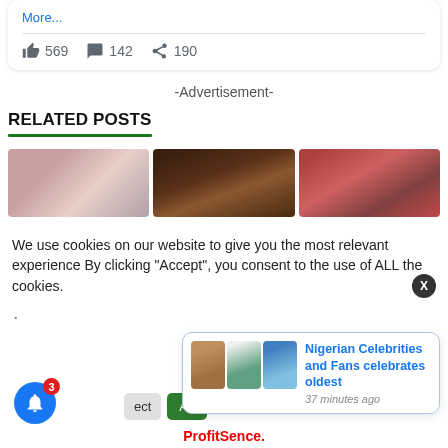More...
569  142  190
-Advertisement-
RELATED POSTS
[Figure (photo): Three related post thumbnail images showing people]
We use cookies on our website to give you the most relevant experience By clicking “Accept”, you consent to the use of ALL the cookies.
Nigerian Celebrities and Fans celebrates oldest
37 minutes ago
ProfitSence.